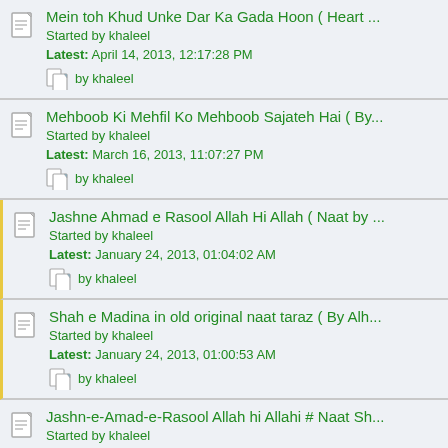Mein toh Khud Unke Dar Ka Gada Hoon ( Heart ... Started by khaleel Latest: April 14, 2013, 12:17:28 PM by khaleel
Mehboob Ki Mehfil Ko Mehboob Sajateh Hai ( By... Started by khaleel Latest: March 16, 2013, 11:07:27 PM by khaleel
Jashne Ahmad e Rasool Allah Hi Allah ( Naat by ... Started by khaleel Latest: January 24, 2013, 01:04:02 AM by khaleel
Shah e Madina in old original naat taraz ( By Alh... Started by khaleel Latest: January 24, 2013, 01:00:53 AM by khaleel
Jashn-e-Amad-e-Rasool Allah hi Allahi # Naat Sh... Started by khaleel Latest: January 24, 2013, 12:55:21 AM